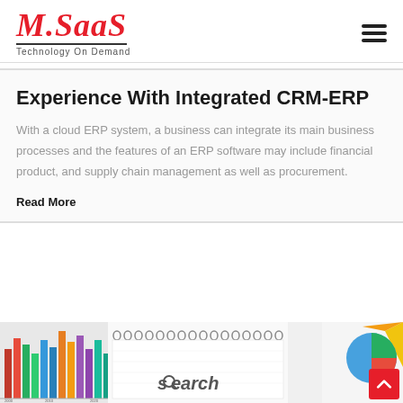M.SaaS — Technology On Demand
Experience With Integrated CRM-ERP
With a cloud ERP system, a business can integrate its main business processes and the features of an ERP software may include financial product, and supply chain management as well as procurement.
Read More
[Figure (photo): Bottom portion showing a bar chart illustration on the left, a spiral notebook in the center with 'search' text, and colorful geometric shapes (pie chart segments) on the right, with a red scroll-to-top button in the bottom right corner.]